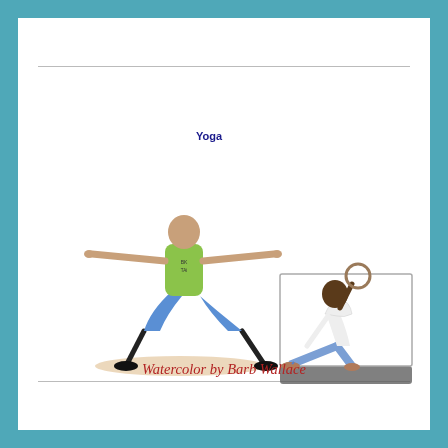Yoga
[Figure (illustration): Watercolor illustration of two yoga practitioners: left figure is a man with prosthetic legs wearing a green shirt and blue shorts performing Warrior II pose with arms extended; right figure is a woman in white top and blue leggings performing a side angle pose with one arm extended upward holding a ring, standing on a dark yoga mat.]
Watercolor by Barb Wallace